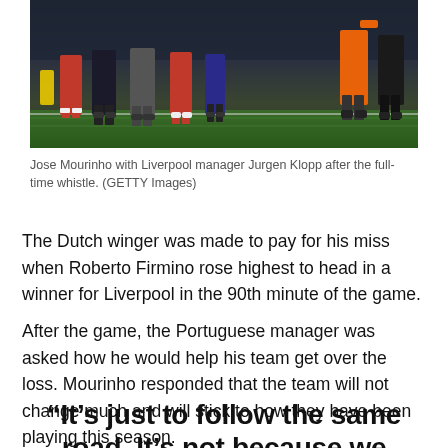[Figure (photo): Soccer players and managers on the pitch sideline, showing legs and feet on grass, with a blurred stadium background.]
Jose Mourinho with Liverpool manager Jurgen Klopp after the full-time whistle. (GETTY Images)
The Dutch winger was made to pay for his miss when Roberto Firmino rose highest to head in a winner for Liverpool in the 90th minute of the game.
After the game, the Portuguese manager was asked how he would help his team get over the loss. Mourinho responded that the team will not change much and will stick to how they have been playing this season.
“It’s just to follow the same road. It’s not because we